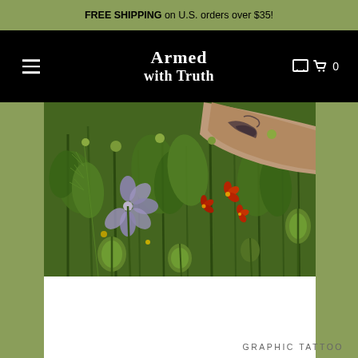FREE SHIPPING on U.S. orders over $35!
Armed with Truth
[Figure (photo): Close-up photograph of a wildflower garden with green stems, poppy seed pods, a purple/lavender flower, red flowers, and a tattooed arm reaching into the frame from the upper right.]
GRAPHIC TATTOO